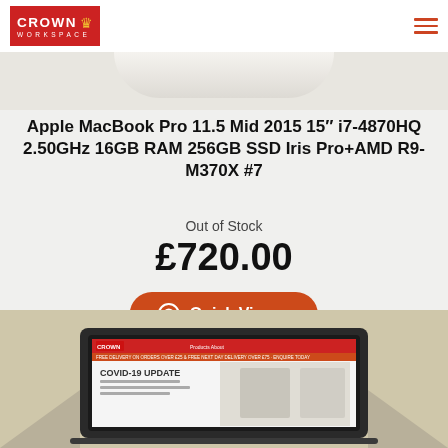[Figure (logo): Crown Workspace logo — red background with white CROWN text and gold crown icon, WORKSPACE in small letters below]
[Figure (photo): Top portion of a MacBook Pro laptop, rounded bottom edge of lid visible against light background]
Apple MacBook Pro 11.5 Mid 2015 15" i7-4870HQ 2.50GHz 16GB RAM 256GB SSD Iris Pro+AMD R9-M370X #7
Out of Stock
£720.00
[Figure (other): Orange rounded button with eye icon, Quick View text, and right arrow chevron]
[Figure (screenshot): MacBook laptop displaying Crown Workspace website with COVID-19 Update message, positioned in cardboard box]